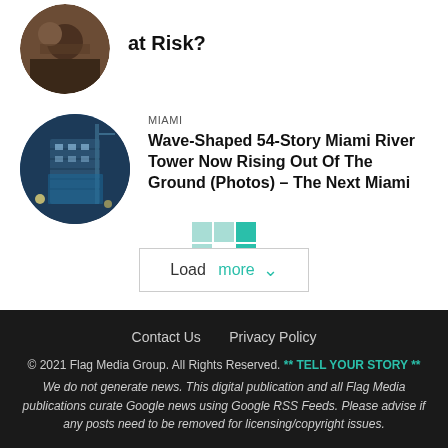[Figure (photo): Partial circular thumbnail of a person or outdoor scene, cropped at top]
at Risk?
[Figure (photo): Circular thumbnail showing a multi-story building under construction with blue scaffolding against a night/blue sky]
MIAMI
Wave-Shaped 54-Story Miami River Tower Now Rising Out Of The Ground (Photos) – The Next Miami
[Figure (logo): Teal/green grid logo overlapping a Load more button with a dropdown arrow]
Contact Us   Privacy Policy
© 2021 Flag Media Group. All Rights Reserved. ** TELL YOUR STORY **
We do not generate news. This digital publication and all Flag Media publications curate Google news using Google RSS Feeds. Please advise if any posts need to be removed for licensing/copyright issues.